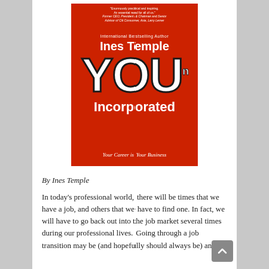[Figure (illustration): Book cover of 'YOU, Incorporated: Your Career is Your Business' by Ines Temple. Red background with large bold white text 'YOU' with a superscript 'n', subtitle 'Incorporated', author name 'Ines Temple', and tagline 'Your Career is Your Business'.]
By Ines Temple
In today's professional world, there will be times that we have a job, and others that we have to find one. In fact, we will have to go back out into the job market several times during our professional lives. Going through a job transition may be (and hopefully should always be) an